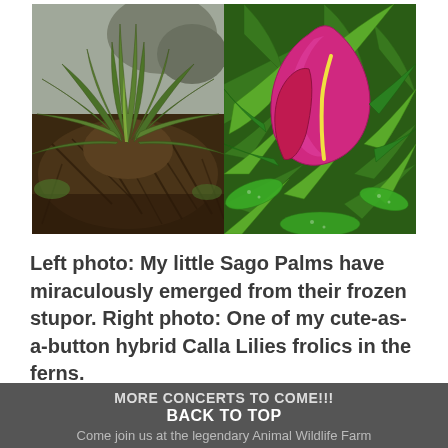[Figure (photo): Two side-by-side photos: Left photo shows Sago Palms with spiky green fronds emerging from a base of dried brown fibrous roots and debris on the ground. Right photo shows a bright pink/magenta hybrid Calla Lily bloom surrounded by bright green fern fronds.]
Left photo: My little Sago Palms have miraculously emerged from their frozen stupor. Right photo: One of my cute-as-a-button hybrid Calla Lilies frolics in the ferns.
MORE CONCERTS TO COME!!!
BACK TO TOP